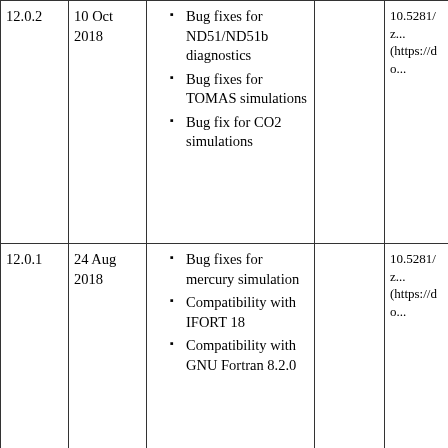| Version | Date | New features/fixes | Migration notes | DOI |
| --- | --- | --- | --- | --- |
| 12.0.2 | 10 Oct 2018 | Bug fixes for ND51/ND51b diagnostics
Bug fixes for TOMAS simulations
Bug fix for CO2 simulations |  | 10.5281/z...
(https://do... |
| 12.0.1 | 24 Aug 2018 | Bug fixes for mercury simulation
Compatibility with IFORT 18
Compatibility with GNU Fortran 8.2.0 |  | 10.5281/z...
(https://do... |
| 12.0.0*
aka
v11.02 | 10 Aug 2018 | Bug fixes identified... | Note change in GEOS-Chem... | 10.5281/z...
(https://do... |